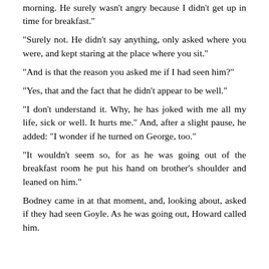morning. He surely wasn't angry because I didn't get up in time for breakfast."
	"Surely not. He didn't say anything, only asked where you were, and kept staring at the place where you sit."
	"And is that the reason you asked me if I had seen him?"
	"Yes, that and the fact that he didn't appear to be well."
	"I don't understand it. Why, he has joked with me all my life, sick or well. It hurts me." And, after a slight pause, he added: "I wonder if he turned on George, too."
	"It wouldn't seem so, for as he was going out of the breakfast room he put his hand on brother's shoulder and leaned on him."
	Bodney came in at that moment, and, looking about, asked if they had seen Goyle. As he was going out, Howard called him.